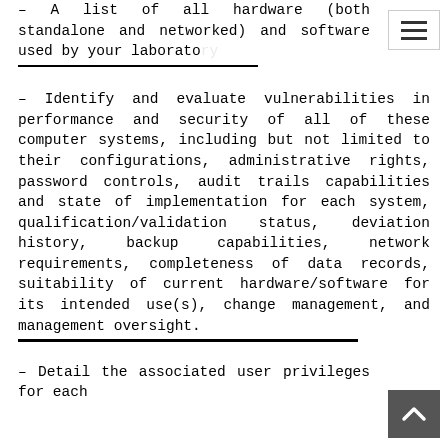– A list of all hardware (both standalone and networked) and software used by your laboratory [underlined text]
– Identify and evaluate vulnerabilities in performance and security of all of these computer systems, including but not limited to their configurations, administrative rights, password controls, audit trails capabilities and state of implementation for each system, qualification/validation status, deviation history, backup capabilities, network requirements, completeness of data records, suitability of current hardware/software for its intended use(s), change management, and management oversight. [underlined text]
– Detail the associated user privileges for each